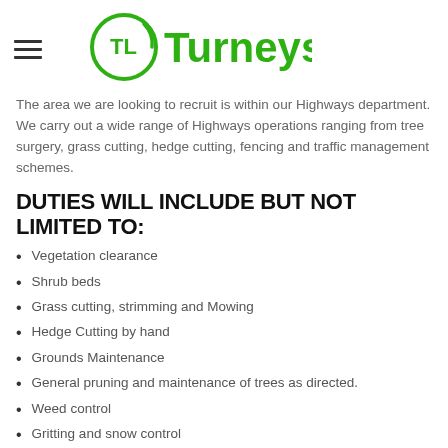[Figure (logo): Turneys logo with green TL circular emblem and green 'Turneys' text]
The area we are looking to recruit is within our Highways department. We carry out a wide range of Highways operations ranging from tree surgery, grass cutting, hedge cutting, fencing and traffic management schemes.
DUTIES WILL INCLUDE BUT NOT LIMITED TO:
Vegetation clearance
Shrub beds
Grass cutting, strimming and Mowing
Hedge Cutting by hand
Grounds Maintenance
General pruning and maintenance of trees as directed.
Weed control
Gritting and snow control